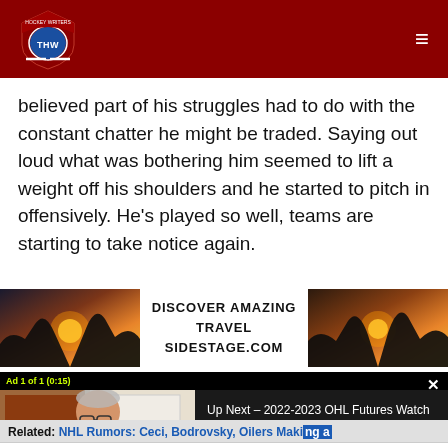THW - The Hockey Writers
believed part of his struggles had to do with the constant chatter he might be traded. Saying out loud what was bothering him seemed to lift a weight off his shoulders and he started to pitch in offensively. He's played so well, teams are starting to take notice again.
[Figure (photo): Travel advertisement banner: DISCOVER AMAZING TRAVEL SIDESTAGE.COM with two landscape sunset photos on either side]
[Figure (screenshot): Video player showing Ad 1 of 1 (0:15) with a man's face visible on the left half and 'Up Next - 2022-2023 OHL Futures Watch - Guelph Storm' text on the right dark panel]
Related: NHL Rumors: Ceci, Bodrovsky, Oilers Making a
[Figure (screenshot): Bottom ad: 60 Second Ritual Rebuilds, n/a, with thumbnail and blue play button]